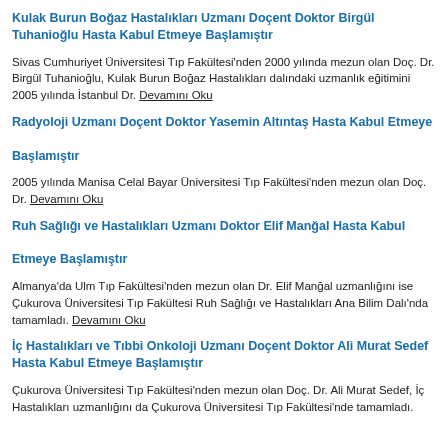Kulak Burun Boğaz Hastalıkları Uzmanı Doçent Doktor Birgül Tuhanioğlu Hasta Kabul Etmeye Başlamıştır
Sivas Cumhuriyet Üniversitesi Tıp Fakültesi'nden 2000 yılında mezun olan Doç. Dr. Birgül Tuhanioğlu, Kulak Burun Boğaz Hastalıkları dalındaki uzmanlık eğitimini 2005 yılında İstanbul Dr. Devamını Oku
Radyoloji Uzmanı Doçent Doktor Yasemin Altıntaş Hasta Kabul Etmeye Başlamıştır
2005 yılında Manisa Celal Bayar Üniversitesi Tıp Fakültesi'nden mezun olan Doç. Dr. Devamını Oku
Ruh Sağlığı ve Hastalıkları Uzmanı Doktor Elif Manğal Hasta Kabul Etmeye Başlamıştır
Almanya'da Ulm Tıp Fakültesi'nden mezun olan Dr. Elif Manğal uzmanlığını ise Çukurova Üniversitesi Tıp Fakültesi Ruh Sağlığı ve Hastalıkları Ana Bilim Dalı'nda tamamladı. Devamını Oku
İç Hastalıkları ve Tıbbi Onkoloji Uzmanı Doçent Doktor Ali Murat Sedef Hasta Kabul Etmeye Başlamıştır
Çukurova Üniversitesi Tıp Fakültesi'nden mezun olan Doç. Dr. Ali Murat Sedef, İç Hastalıkları uzmanlığını da Çukurova Üniversitesi Tıp Fakültesi'nde tamamladı.